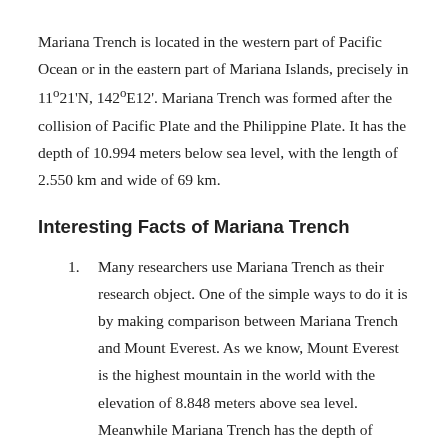Mariana Trench is located in the western part of Pacific Ocean or in the eastern part of Mariana Islands, precisely in 11°21'N, 142°E12'. Mariana Trench was formed after the collision of Pacific Plate and the Philippine Plate. It has the depth of 10.994 meters below sea level, with the length of 2.550 km and wide of 69 km.
Interesting Facts of Mariana Trench
Many researchers use Mariana Trench as their research object. One of the simple ways to do it is by making comparison between Mariana Trench and Mount Everest. As we know, Mount Everest is the highest mountain in the world with the elevation of 8.848 meters above sea level. Meanwhile Mariana Trench has the depth of 10.994 meters below sea surface. It can be imagined how deep the Mariana Trench is if you put Mount Everest the other way around. Even some researchers believe the Mariana Trench is even deeper.